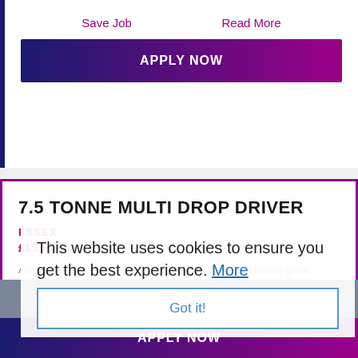Save Job   Read More
APPLY NOW
7.5 TONNE MULTI DROP DRIVER
ESSEX
£15.50PH
Are you looking for a new role, great company with lots of great benefits? Plus be paid an ATTENDANCE BONUS PER HOUR? Offering an excellent opportunity for the right candidate's with perm employment. To be...
This website uses cookies to ensure you get the best experience. More
Got it!
Refine Search
APPLY NOW